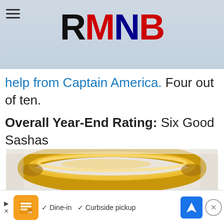RMNB
help from Captain America. Four out of ten.
Overall Year-End Rating: Six Good Sashas
[Figure (photo): Close-up photo of a cat (Sasha) with a golden halo above its head, white background]
[Figure (other): Advertisement banner: orange icon, checkmarks, Dine-in, Curbside pickup, blue navigation arrow icon, X close button]